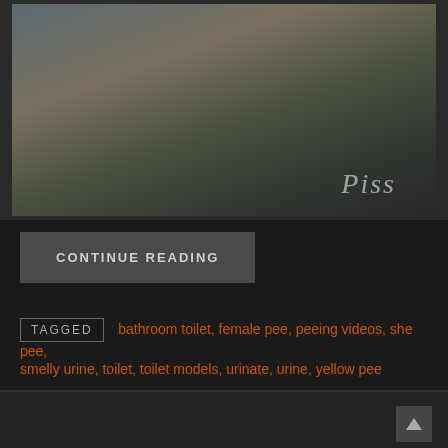[Figure (photo): Woman crouching outdoors near a brick wall and metal grate, with debris around, watermark text 'Piss' in italic white overlay]
CONTINUE READING
TAGGED  bathroom toilet, female pee, peeing videos, she pee, smelly urine, toilet, toilet models, urinate, urine, yellow pee
PISS LYING ON A BENCH